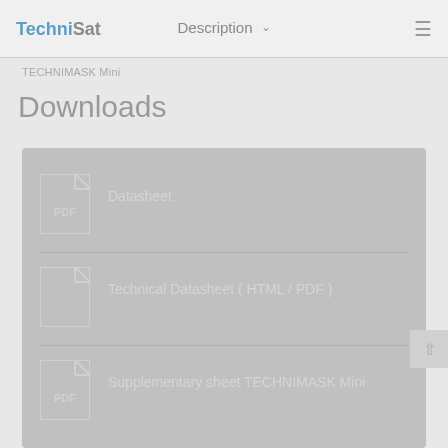TechniSat | Description ≡
TECHNIMASK Mini
Downloads
Datasheet
09.07.2021, 1.5 MB.pdf
Technical Datasheet (HTML / PDF)
html
Supplementary sheet TECHNIMASK Mini
26.05.2021, 0.38 MB.pdf